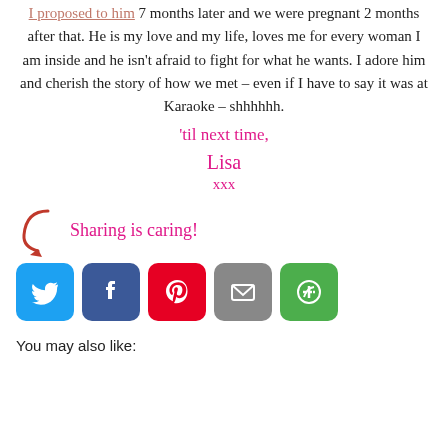I proposed to him 7 months later and we were pregnant 2 months after that. He is my love and my life, loves me for every woman I am inside and he isn't afraid to fight for what he wants. I adore him and cherish the story of how we met – even if I have to say it was at Karaoke – shhhhhh.
'til next time,
Lisa
xxx
[Figure (infographic): Sharing is caring! social share buttons: Twitter, Facebook, Pinterest, Email, More]
You may also like: